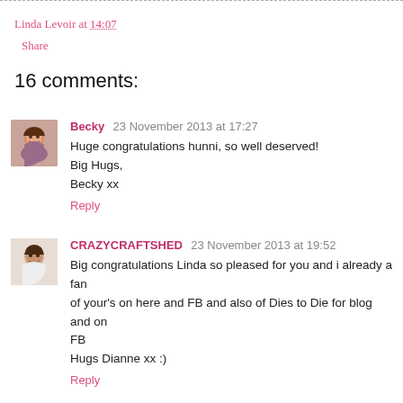Linda Levoir at 14:07
Share
16 comments:
Becky  23 November 2013 at 17:27
Huge congratulations hunni, so well deserved!
Big Hugs,
Becky xx
Reply
CRAZYCRAFTSHED  23 November 2013 at 19:52
Big congratulations Linda so pleased for you and i already a fan of your's on here and FB and also of Dies to Die for blog and on FB
Hugs Dianne xx :)
Reply